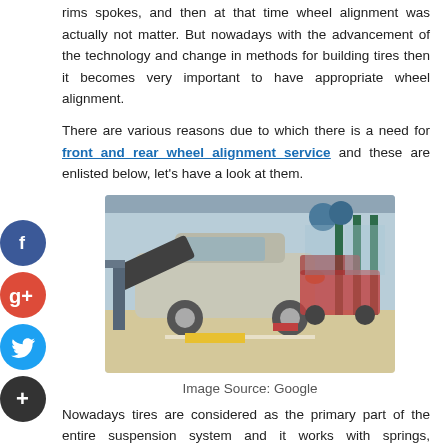rims spokes, and then at that time wheel alignment was actually not matter. But nowadays with the advancement of the technology and change in methods for building tires then it becomes very important to have appropriate wheel alignment.
There are various reasons due to which there is a need for front and rear wheel alignment service and these are enlisted below, let's have a look at them.
[Figure (photo): Cars in an automotive service garage with hoods open, receiving wheel alignment or suspension service. Multiple vehicles lined up in a professional workshop with equipment visible.]
Image Source: Google
Nowadays tires are considered as the primary part of the entire suspension system and it works with springs, supportive rod